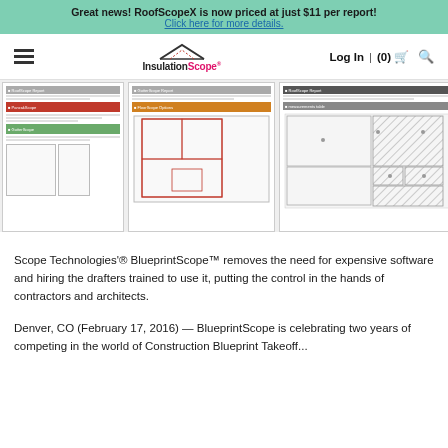Great news! RoofScopeX is now priced at just $11 per report!
Click here for more details.
[Figure (screenshot): Navigation bar with hamburger menu, InsulationScope logo, Log In and cart icons]
[Figure (screenshot): Three overlapping screenshots showing BlueprintScope report documents with floor plan diagrams and data tables]
Scope Technologies'® BlueprintScope™ removes the need for expensive software and hiring the drafters trained to use it, putting the control in the hands of contractors and architects.
Denver, CO (February 17, 2016) — BlueprintScope is celebrating two years of competing in the world of Construction Blueprint Takeoff...